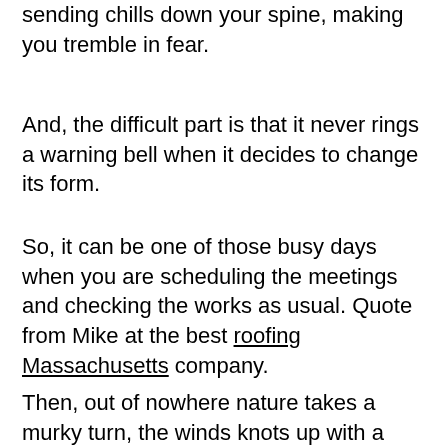sending chills down your spine, making you tremble in fear.
And, the difficult part is that it never rings a warning bell when it decides to change its form.
So, it can be one of those busy days when you are scheduling the meetings and checking the works as usual. Quote from Mike at the best roofing Massachusetts company.
Then, out of nowhere nature takes a murky turn, the winds knots up with a deafening voice, and suddenly the roof above you